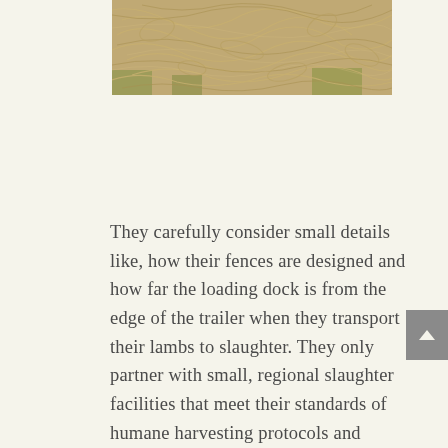[Figure (photo): Close-up photograph of dried, tangled grass or straw on green ground, showing dry brown fibrous plant material.]
They carefully consider small details like, how their fences are designed and how far the loading dock is from the edge of the trailer when they transport their lambs to slaughter. They only partner with small, regional slaughter facilities that meet their standards of humane harvesting protocols and purchase lambs from fellow farmers